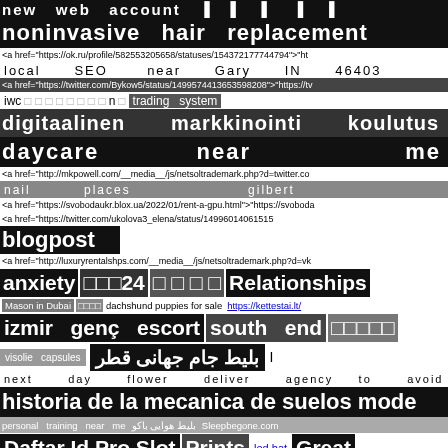new web account [symbols]
noninvasive hair replacement
<a href="https://ok.ru/profile/582553205658/statuses/154372177744794">"ht
local SEO near Gary IN 46403
<a href="https://twitter.com/Bykow5/status/1499574413653598208">"https://tv
iwc [symbols] n [symbol] trading system
digitaalinen markkinointi koulutus
daycare near me
<a href="http://mkpowell.com/__media__/js/netsoltrademark.php?d=twitter.com
nail places gilbert
<a href="https://svobodaukr.blox.ua/2022/01/rent-a-gpu.html">"https://svoboda
<a href="https://twitter.com/ukolova3_elena/status/14996014061515
blogpost
<a href="http://luxuryrentalshps.com/__media__/js/netsoltrademark.php?d=vk
anxiety [symbols]24 [symbols] Relationships
Mason in Dubai [symbols] dachshund puppies for sale https://kettestai.lt/
izmir genç escort south end [symbols]
visolie capsules بلیط جام جهانی قطر
next day flower deliver agency to avoid
historia de la mecanica de suelos mode
personal training near me بلیط هوایی باکو Sleepbegone.com
Daftar Id Pro Slot Prints led hat Great
blocked drains slough